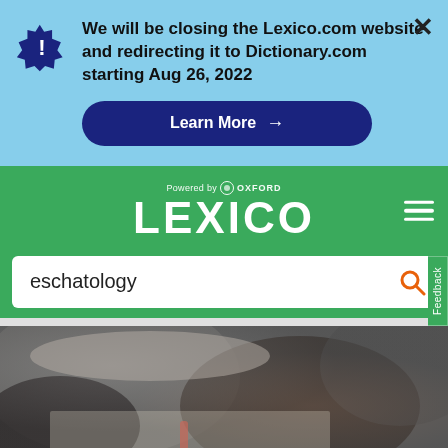We will be closing the Lexico.com website and redirecting it to Dictionary.com starting Aug 26, 2022
Learn More →
[Figure (screenshot): Lexico.com website header with Oxford branding, search bar showing 'eschatology', and a blurred photo below]
eschatology
[Figure (photo): Blurred close-up photo of what appears to be a frying pan and papers on a table]